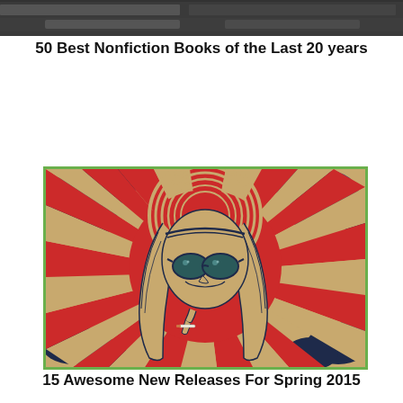[Figure (photo): Top portion of a cropped image, partially visible at the top of the page]
50 Best Nonfiction Books of the Last 20 years
[Figure (illustration): Stylized retro illustration of a person with long hair, big sunglasses, smoking a cigarette, on a tan/kraft background with a red circle and radiating red and cream stripes, dark navy clouds in corners, green border]
15 Awesome New Releases For Spring 2015